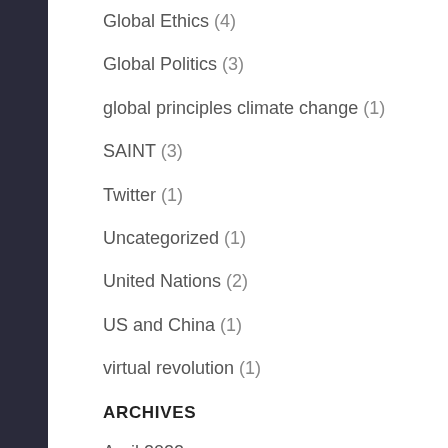Global Ethics (4)
Global Politics (3)
global principles climate change (1)
SAINT (3)
Twitter (1)
Uncategorized (1)
United Nations (2)
US and China (1)
virtual revolution (1)
ARCHIVES
April 2022
March 2022